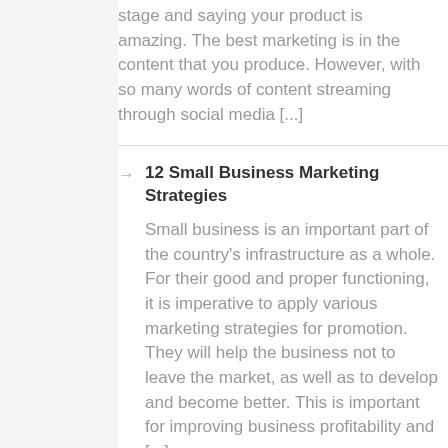stage and saying your product is amazing. The best marketing is in the content that you produce. However, with so many words of content streaming through social media [...]
12 Small Business Marketing Strategies
Small business is an important part of the country's infrastructure as a whole. For their good and proper functioning, it is imperative to apply various marketing strategies for promotion. They will help the business not to leave the market, as well as to develop and become better. This is important for improving business profitability and [...]